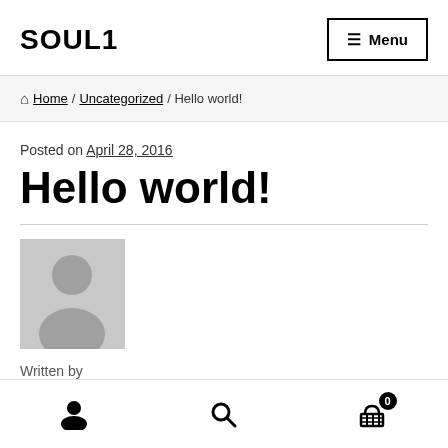SOUL1 | Menu
🏠 Home / Uncategorized / Hello world!
Posted on April 28, 2016
Hello world!
[Figure (photo): Default avatar placeholder — grey silhouette of a person on a grey background]
Written by
User icon | Search icon | Cart icon with badge 0